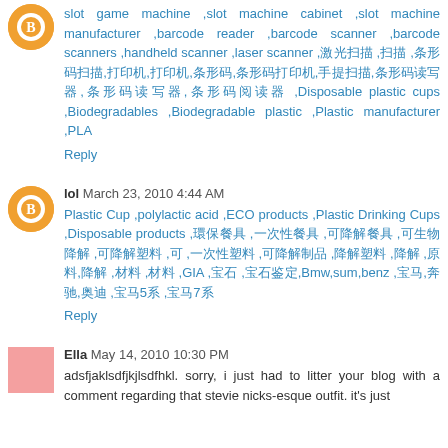slot game machine ,slot machine cabinet ,slot machine manufacturer ,barcode reader ,barcode scanner ,barcode scanners ,handheld scanner ,laser scanner ,激光扫描 ,扫描 ,条形码扫描,打印机,打印机,条形码,条形码打印机,手提扫描,条形码读写器,条形码读写器,条形码阅读器 ,Disposable plastic cups ,Biodegradables ,Biodegradable plastic ,Plastic manufacturer ,PLA
Reply
lol March 23, 2010 4:44 AM
Plastic Cup ,polylactic acid ,ECO products ,Plastic Drinking Cups ,Disposable products ,環保餐具 ,一次性餐具 ,可降解餐具 ,可生物降解 ,可降解塑料 ,可 ,一次性塑料 ,可降解制品 ,降解塑料 ,降解 ,原料,降解 ,材料 ,材料 ,GIA ,宝石 ,宝石鉴定,Bmw,sum,benz ,宝马,奔驰,奥迪 ,宝马5系 ,宝马7系
Reply
Ella May 14, 2010 10:30 PM
adsfjaklsdfjkjlsdfhkl. sorry, i just had to litter your blog with a comment regarding that stevie nicks-esque outfit. it's just